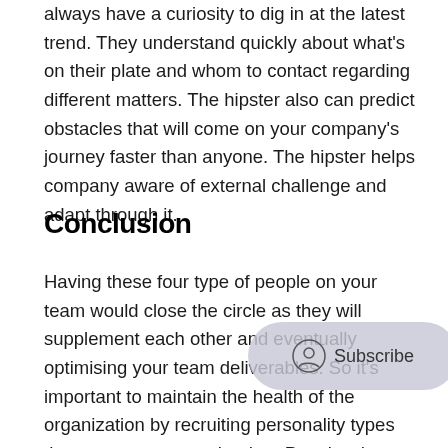always have a curiosity to dig in at the latest trend. They understand quickly about what's on their plate and whom to contact regarding different matters. The hipster also can predict obstacles that will come on your company's journey faster than anyone. The hipster helps company aware of external challenge and adapt through it.
Conclusion
Having these four type of people on your team would close the circle as they will supplement each other and eventually optimising your team deliverables. So it's important to maintain the health of the organization by recruiting personality types that complement each other. People who have different personalities, skills and traits complete each other well and they can